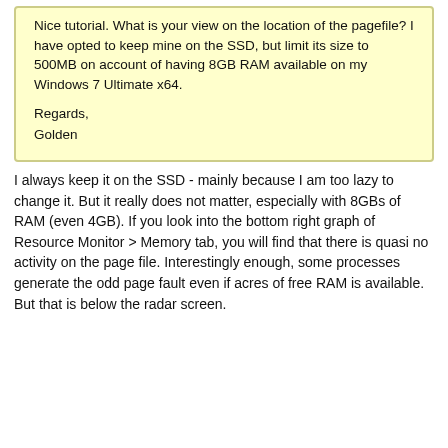Nice tutorial. What is your view on the location of the pagefile? I have opted to keep mine on the SSD, but limit its size to 500MB on account of having 8GB RAM available on my Windows 7 Ultimate x64.

Regards,
Golden
I always keep it on the SSD - mainly because I am too lazy to change it. But it really does not matter, especially with 8GBs of RAM (even 4GB). If you look into the bottom right graph of Resource Monitor > Memory tab, you will find that there is quasi no activity on the page file. Interestingly enough, some processes generate the odd page fault even if acres of free RAM is available. But that is below the radar screen.